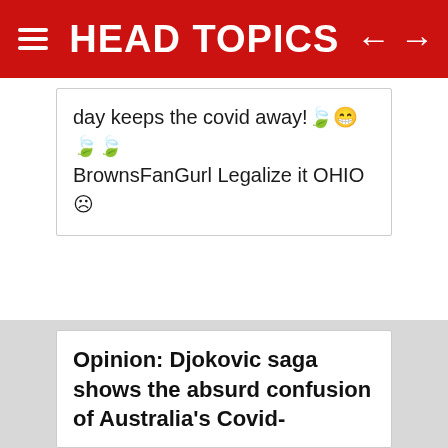HEAD TOPICS
day keeps the covid away!🍃😁🍃🍃 BrownsFanGurl Legalize it OHIO ☹
Opinion: Djokovic saga shows the absurd confusion of Australia's Covid-